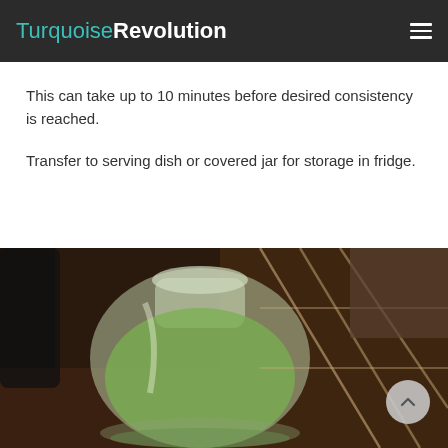TurquoiseRevolution
This can take up to 10 minutes before desired consistency is reached.
Transfer to serving dish or covered jar for storage in fridge.
[Figure (photo): Close-up photo of a glass jar with green contents (likely a sauce or dip), with a wire basket visible in the background on a dark surface.]